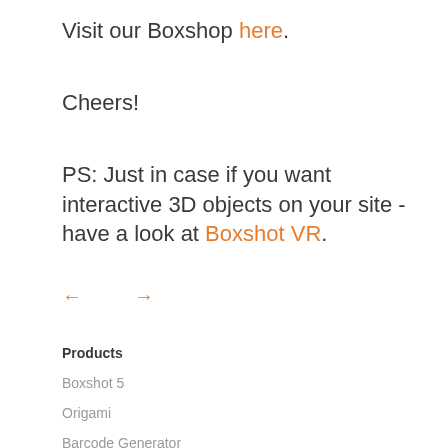Visit our Boxshop here.
Cheers!
PS: Just in case if you want interactive 3D objects on your site - have a look at Boxshot VR.
← →
Products
Boxshot 5
Origami
Barcode Generator
Koru